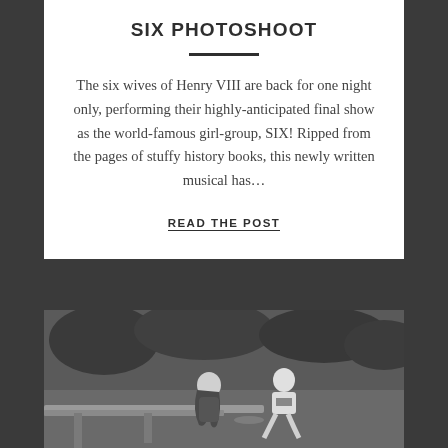SIX PHOTOSHOOT
The six wives of Henry VIII are back for one night only, performing their highly-anticipated final show as the world-famous girl-group, SIX! Ripped from the pages of stuffy history books, this newly written musical has…
READ THE POST
[Figure (photo): Black and white photograph of two young people sitting on wooden dock or bridge structure near water, with trees in background. One person with long hair leaning forward, another person in a t-shirt sitting with legs dangling.]